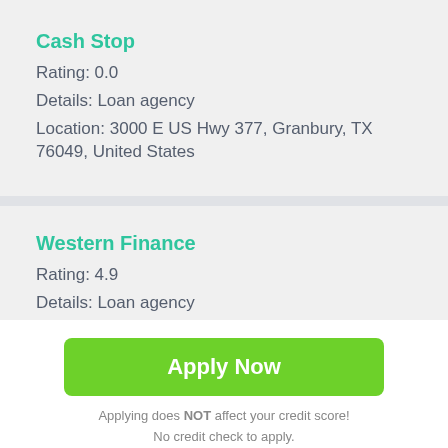Cash Stop
Rating: 0.0
Details: Loan agency
Location: 3000 E US Hwy 377, Granbury, TX 76049, United States
Western Finance
Rating: 4.9
Details: Loan agency
Location: 1323 N Plaza Dr, Granbury, TX 76048, United States
[Figure (other): Scroll to top button with upward arrow icon]
Apply Now
Applying does NOT affect your credit score! No credit check to apply.